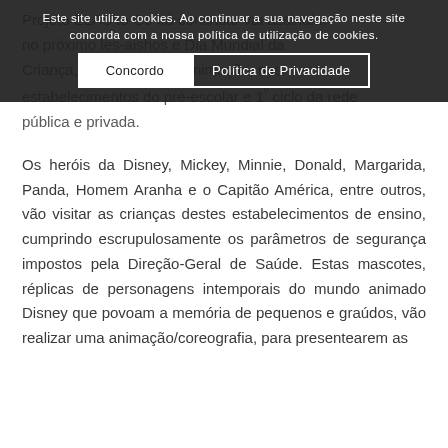Este site utiliza cookies. Ao continuar a sua navegação neste site concorda com a nossa política de utilização de cookies.
Concordo | Política de Privacidade
Projeto ELAS to Go irá continuar vai assinalar no próximo les-aishos e Dia Mundial da Criança, com evento de animação, nos estabelecimentos do pré-escolar e 1º ciclo da rede pública e privada.
Os heróis da Disney, Mickey, Minnie, Donald, Margarida, Panda, Homem Aranha e o Capitão América, entre outros, vão visitar as crianças destes estabelecimentos de ensino, cumprindo escrupulosamente os parâmetros de segurança impostos pela Direção-Geral de Saúde. Estas mascotes, réplicas de personagens intemporais do mundo animado Disney que povoam a memória de pequenos e graúdos, vão realizar uma animação/coreografia, para presentearem as